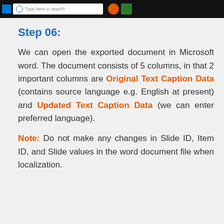[Figure (screenshot): Windows taskbar screenshot showing Windows logo, search bar with 'Type here to search', Cortana icon, and a green app icon on a black background]
Step 06:
We can open the exported document in Microsoft word. The document consists of 5 columns, in that 2 important columns are Original Text Caption Data (contains source language e.g. English at present) and Updated Text Caption Data (we can enter preferred language).
Note: Do not make any changes in Slide ID, Item ID, and Slide values in the word document file when localization.